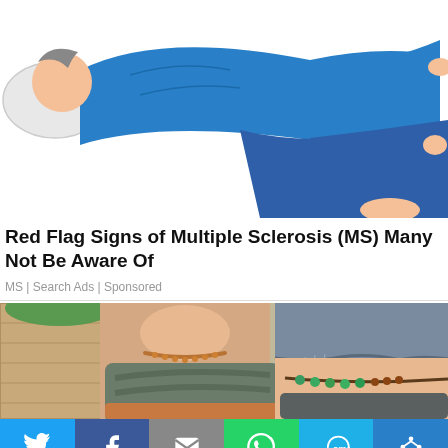[Figure (illustration): Cartoon illustration of a person in blue clothes lying down/sleeping on a white pillow, seen from above/side, on a white background]
Red Flag Signs of Multiple Sclerosis (MS) Many Not Be Aware Of
MS | Search Ads | Sponsored
[Figure (photo): Photo of two feet wearing sandals with ankle bracelets, one with a copper-beaded anklet, one with green-beaded anklet]
[Figure (infographic): Social media share bar with Twitter, Facebook, Email, WhatsApp, SMS, and More buttons]